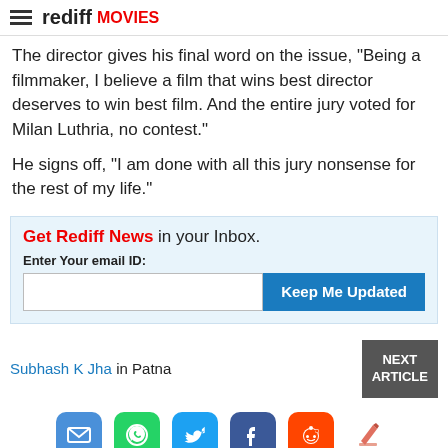rediff MOVIES
The director gives his final word on the issue, "Being a filmmaker, I believe a film that wins best director deserves to win best film. And the entire jury voted for Milan Luthria, no contest."
He signs off, "I am done with all this jury nonsense for the rest of my life."
Get Rediff News in your Inbox. Enter Your email ID: Keep Me Updated
Subhash K Jha in Patna
[Figure (infographic): Social sharing icons: email, WhatsApp, Twitter, Facebook, Reddit, and edit/pencil icon]
Tags: Dirty Picture, ZNMD, Gupta, Shekhar Kapur, Best Picture